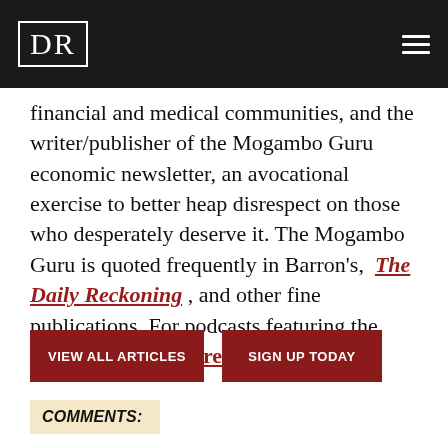DR
financial and medical communities, and the writer/publisher of the Mogambo Guru economic newsletter, an avocational exercise to better heap disrespect on those who desperately deserve it. The Mogambo Guru is quoted frequently in Barron's, The Daily Reckoning, and other fine publications. For podcasts featuring the Mogambo, click here.
VIEW ALL ARTICLES
SIGN UP TODAY
COMMENTS: